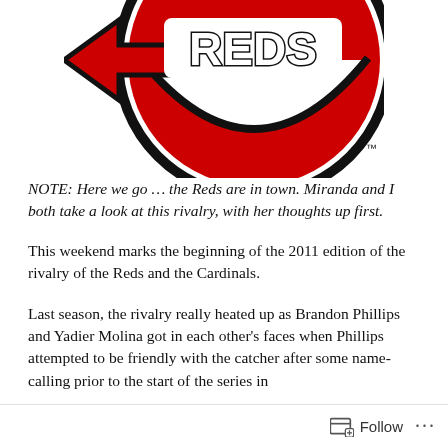[Figure (logo): Cincinnati Reds baseball team logo — partial view showing the bottom half of the circular Reds logo with red circle, black outline, white 'REDS' text, and left-pointing red arrow/wing element. TM mark visible at lower right.]
NOTE: Here we go … the Reds are in town. Miranda and I both take a look at this rivalry, with her thoughts up first.
This weekend marks the beginning of the 2011 edition of the rivalry of the Reds and the Cardinals.
Last season, the rivalry really heated up as Brandon Phillips and Yadier Molina got in each other's faces when Phillips attempted to be friendly with the catcher after some name-calling prior to the start of the series in
Follow ···